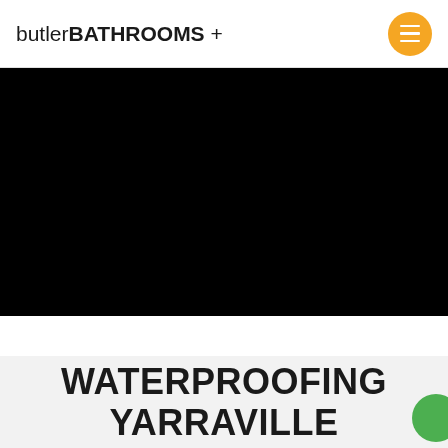butlerBATHROOMS +
[Figure (photo): Black/dark hero image area, content not visible]
WATERPROOFING YARRAVILLE